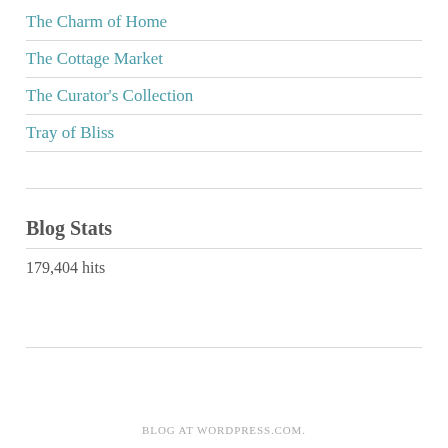The Charm of Home
The Cottage Market
The Curator's Collection
Tray of Bliss
Blog Stats
179,404 hits
BLOG AT WORDPRESS.COM.